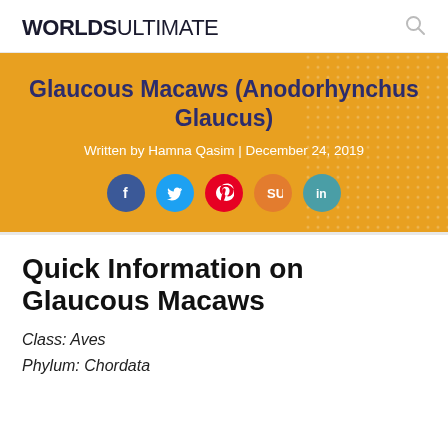WORLDS ULTIMATE
Glaucous Macaws (Anodorhynchus Glaucus)
Written by Hamna Qasim | December 24, 2019
[Figure (infographic): Social media sharing buttons: Facebook, Twitter, Pinterest, StumbleUpon, LinkedIn]
Quick Information on Glaucous Macaws
Class: Aves
Phylum: Chordata